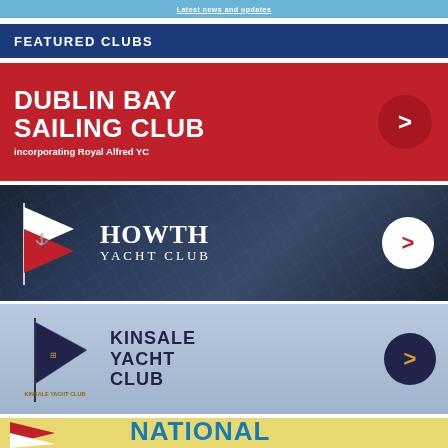Latest news and updates
FEATURED CLUBS
[Figure (infographic): Dublin Bay Sailing Club red banner with white bold text and arrow button]
[Figure (infographic): Howth Yacht Club dark navy banner with flag logo, serif text, and white circle arrow button]
[Figure (infographic): Kinsale Yacht Club light blue-grey banner with pennant flag logo, navy text, and navy circle arrow button]
[Figure (infographic): National (club, partial) yellow banner with blue text, partially visible]